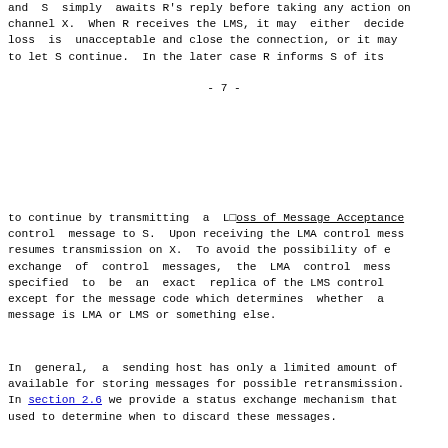and S simply awaits R's reply before taking any action on channel X.  When R receives the LMS, it may either decide loss is unacceptable and close the connection, or it may to let S continue.  In the later case R informs S of its
- 7 -
to continue by transmitting a L□oss of Message Acceptance control message to S.  Upon receiving the LMA control message resumes transmission on X.  To avoid the possibility of exchange of control messages, the LMA control message specified to be an exact  replica of the LMS control except for the message code which determines whether a message is LMA or LMS or something else.
In general,  a  sending host has only a limited amount of available for storing messages for possible retransmission. In section 2.6 we provide a status exchange mechanism that used to determine when to discard these messages.